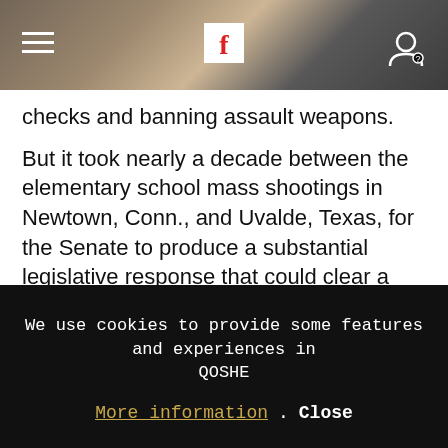Flipboard app header with hamburger menu, Flipboard logo, and user icon
checks and banning assault weapons.
But it took nearly a decade between the elementary school mass shootings in Newtown, Conn., and Uvalde, Texas, for the Senate to produce a substantial legislative response that could clear a filibuster. Given that, senators acknowledge that additional action on guns may be years away.
Sen. Tim Kaine (D-Va.) said describing the gun measure as a first step “accurately reflects people’s sincere hopes, and often success builds on success.” But he
We use cookies to provide some features and experiences in QOSHE
More information . Close